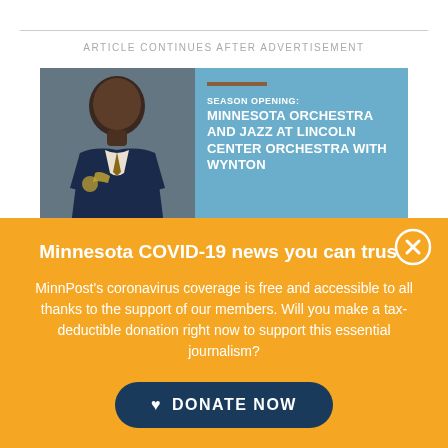ARTICLE CONTINUES AFTER ADVERTISEMENT
[Figure (infographic): Advertisement banner showing a musician in a suit holding a trumpet against a blue background, with text: SEASON OPENING: MINNESOTA ORCHESTRA AND JAZZ AT LINCOLN CENTER ORCHESTRA WITH WYNTON (truncated)]
Minnesota COVID-19 news you can trust.
MinnPost's coronavirus coverage is free and accessible to all thanks to the support of our members. Will you make a tax-deductible donation right now to support this essential journalism?
DONATE NOW